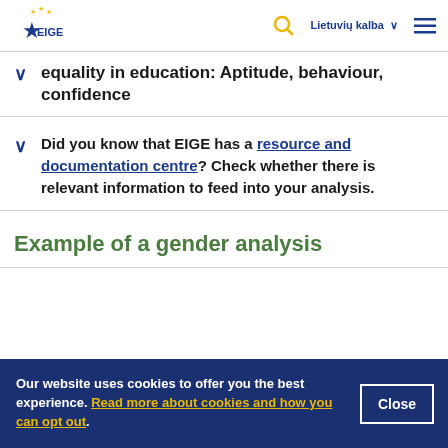EIGE — Lietuvių kalba
equality in education: Aptitude, behaviour, confidence
Did you know that EIGE has a resource and documentation centre? Check whether there is relevant information to feed into your analysis.
Example of a gender analysis
Our website uses cookies to offer you the best experience. Read more about cookies and how you can opt out.